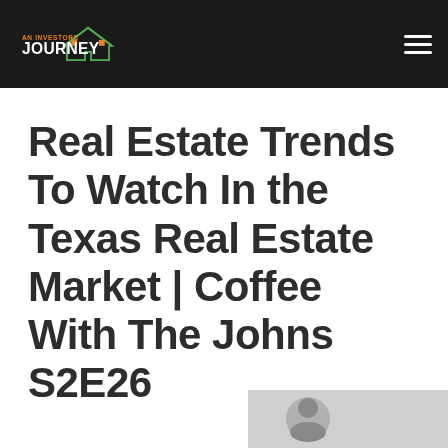An Investors Journey
Real Estate Trends To Watch In the Texas Real Estate Market | Coffee With The Johns S2E26
[Figure (screenshot): Partial thumbnail image visible at bottom right of page]